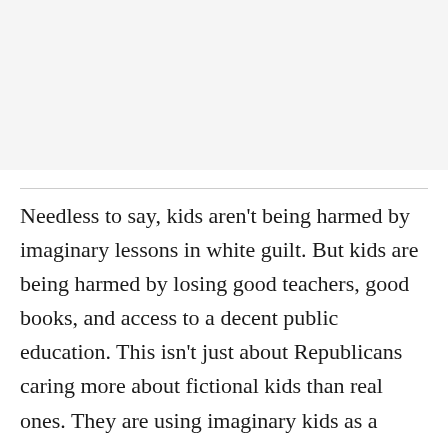Needless to say, kids aren't being harmed by imaginary lessons in white guilt. But kids are being harmed by losing good teachers, good books, and access to a decent public education. This isn't just about Republicans caring more about fictional kids than real ones. They are using imaginary kids as a weapon to harm real kids.
Of course, these are the same Republicans who, just recently, were demanding that President Joe Biden ...